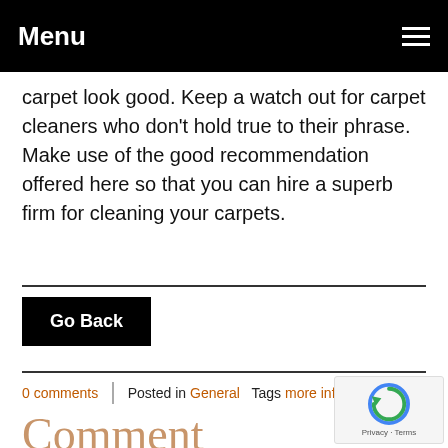Menu
carpet look good. Keep a watch out for carpet cleaners who don't hold true to their phrase. Make use of the good recommendation offered here so that you can hire a superb firm for cleaning your carpets.
Go Back
0 comments | Posted in General Tags more information
Comment